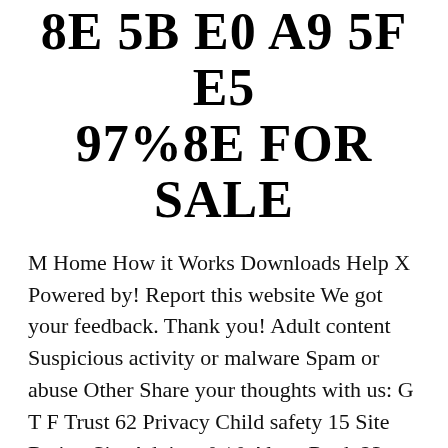8E 5B E0 A9 5F E5 97%8E FOR SALE
M Home How it Works Downloads Help X Powered by! Report this website We got your feedback. Thank you! Adult content Suspicious activity or malware Spam or abuse Other Share your thoughts with us: G T F Trust 62 Privacy Child safety 15 Site Rating Site Advisor 0 / 0 Alexa Rank 23 000 Daily visitors 41 716 Daily pageviews 375 449 D U Recent posts: for Wordpress for Wordpress plugin for Wordpress is free of charge. for Joomla plugin for Joomla 2. 5/3. 0 is free of charge. for Drupal extension for both major Drupal version is free of charge. for any website In case your